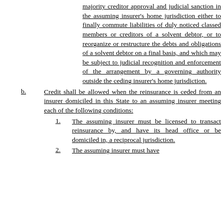majority creditor approval and judicial sanction in the assuming insurer's home jurisdiction either to finally commute liabilities of duly noticed classed members or creditors of a solvent debtor, or to reorganize or restructure the debts and obligations of a solvent debtor on a final basis, and which may be subject to judicial recognition and enforcement of the arrangement by a governing authority outside the ceding insurer's home jurisdiction.
b. Credit shall be allowed when the reinsurance is ceded from an insurer domiciled in this State to an assuming insurer meeting each of the following conditions:
1. The assuming insurer must be licensed to transact reinsurance by, and have its head office or be domiciled in, a reciprocal jurisdiction.
2. The assuming insurer must have